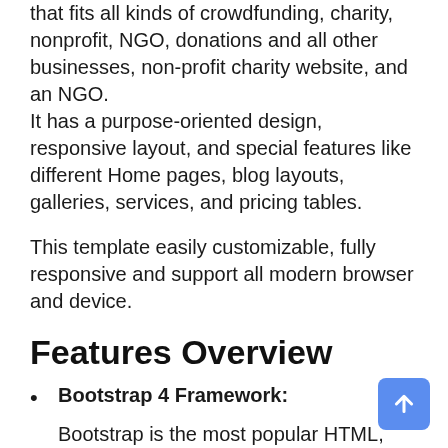that fits all kinds of crowdfunding, charity, nonprofit, NGO, donations and all other businesses, non-profit charity website, and an NGO. It has a purpose-oriented design, responsive layout, and special features like different Home pages, blog layouts, galleries, services, and pricing tables.
This template easily customizable, fully responsive and support all modern browser and device.
Features Overview
Bootstrap 4 Framework:
Bootstrap is the most popular HTML, CSS, and JS framework for developing responsive, mobile first projects on the web.
Responsive Layout Design: